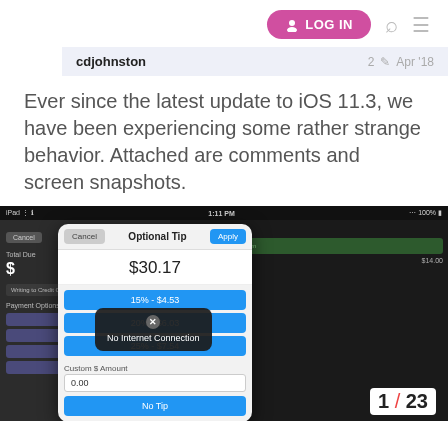LOG IN
cdjohnston   2   Apr '18
Ever since the latest update to iOS 11.3, we have been experiencing some rather strange behavior. Attached are comments and screen snapshots.
[Figure (screenshot): iOS app screenshot showing an 'Optional Tip' modal dialog on a POS system. The modal shows $30.17 amount with tip options: 15% - $4.53, 20% - $6.03, 25% - $7.54, a custom amount input field showing 0.00, and a 'No Tip' button. A 'No Internet Connection' error popup overlays the modal. The background shows a POS payment screen with Total Due, payment options including Pay With Cash, Master/Gift Card, Gift Card, and other buttons. Right side shows 'Guest Customer' and an item 'Line Testing - 3' priced at $14.00.]
1 / 23